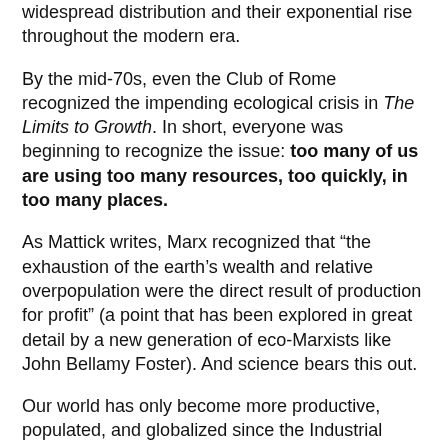widespread distribution and their exponential rise throughout the modern era.
By the mid-70s, even the Club of Rome recognized the impending ecological crisis in The Limits to Growth. In short, everyone was beginning to recognize the issue: too many of us are using too many resources, too quickly, in too many places.
As Mattick writes, Marx recognized that “the exhaustion of the earth’s wealth and relative overpopulation were the direct result of production for profit” (a point that has been explored in great detail by a new generation of eco-Marxists like John Bellamy Foster). And science bears this out.
Our world has only become more productive, populated, and globalized since the Industrial Revolution, and this has correlated closely with rising levels of energy usage and greenhouse gas emissions every year. As our economic activity increases, we cannot avoid using more raw materials to keep the system moving and maintain profit margins.
Ultimately, it is capitalist social relations that drive this